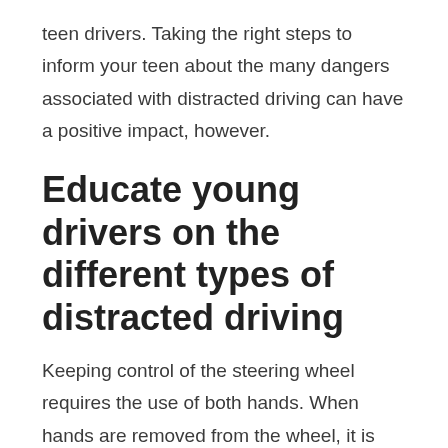teen drivers. Taking the right steps to inform your teen about the many dangers associated with distracted driving can have a positive impact, however.
Educate young drivers on the different types of distracted driving
Keeping control of the steering wheel requires the use of both hands. When hands are removed from the wheel, it is considered a manual distraction. There are also visual distractions,